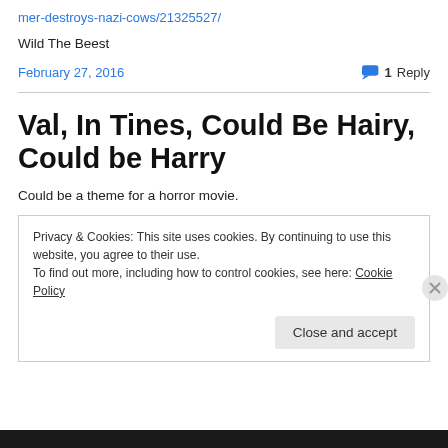mer-destroys-nazi-cows/21325527/
Wild The Beest
February 27, 2016
1 Reply
Val, In Tines, Could Be Hairy, Could be Harry
Could be a theme for a horror movie.
Privacy & Cookies: This site uses cookies. By continuing to use this website, you agree to their use.
To find out more, including how to control cookies, see here: Cookie Policy
Close and accept